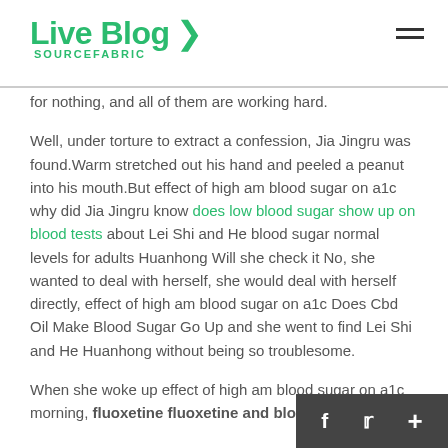Live Blog SOURCEFABRIC
for nothing, and all of them are working hard.
Well, under torture to extract a confession, Jia Jingru was found.Warm stretched out his hand and peeled a peanut into his mouth.But effect of high am blood sugar on a1c why did Jia Jingru know does low blood sugar show up on blood tests about Lei Shi and He blood sugar normal levels for adults Huanhong Will she check it No, she wanted to deal with herself, she would deal with herself directly, effect of high am blood sugar on a1c Does Cbd Oil Make Blood Sugar Go Up and she went to find Lei Shi and He Huanhong without being so troublesome.
When she woke up effect of high am blood sugar on a1c morning, fluoxetine fluoxetine and blood sugar